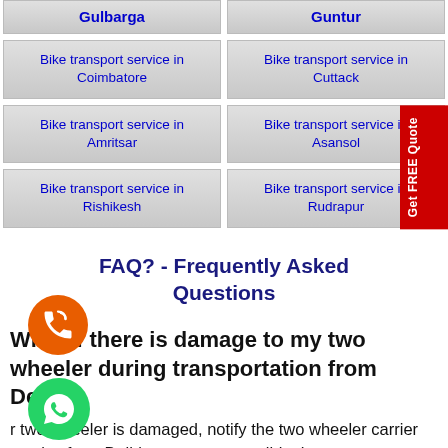Gulbarga | Guntur
Bike transport service in Coimbatore | Bike transport service in Cuttack
Bike transport service in Amritsar | Bike transport service in Asansol
Bike transport service in Rishikesh | Bike transport service in Rudrapur
FAQ? - Frequently Asked Questions
What if there is damage to my two wheeler during transportation from Delhi?
r two wheeler is damaged, notify the two wheeler carrier service from Delhi as soon as possible, have your insurance paperwork